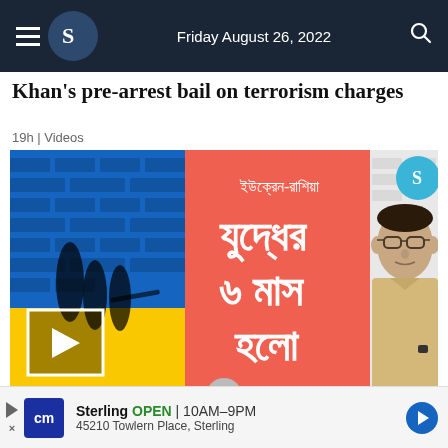Friday August 26, 2022
Khan's pre-arrest bail on terrorism charges
19h | Videos
[Figure (screenshot): Video thumbnail showing Bengali text about Ukraine-Russia war 6 months, with a man on the right side and a play button overlay]
Sterling  OPEN  10AM–9PM  45210 Towlern Place, Sterling